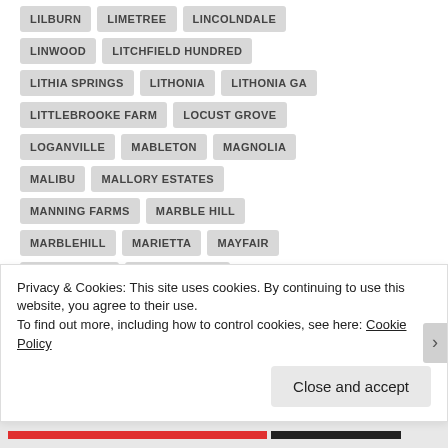LILBURN
LIMETREE
LINCOLNDALE
LINWOOD
LITCHFIELD HUNDRED
LITHIA SPRINGS
LITHONIA
LITHONIA GA
LITTLEBROOKE FARM
LOCUST GROVE
LOGANVILLE
MABLETON
MAGNOLIA
MALIBU
MALLORY ESTATES
MANNING FARMS
MARBLE HILL
MARBLEHILL
MARIETTA
MAYFAIR
MCDONOUGH
MEADOWLAKE
MECHANICSVILLE
MELANIE MANOR
MILL GLEN
MILLBROOK
MILTON
Privacy & Cookies: This site uses cookies. By continuing to use this website, you agree to their use.
To find out more, including how to control cookies, see here: Cookie Policy